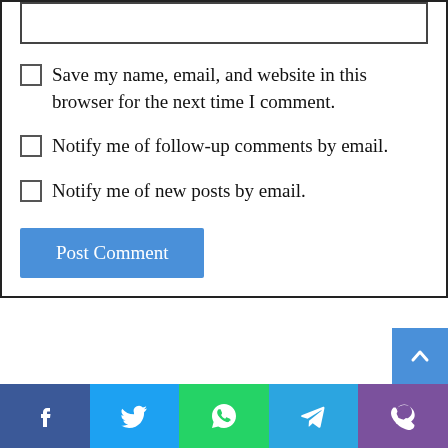Save my name, email, and website in this browser for the next time I comment.
Notify me of follow-up comments by email.
Notify me of new posts by email.
Post Comment
[Figure (other): Social media share/contact bar with icons for Facebook, Twitter, WhatsApp, Telegram, and phone/Viber]